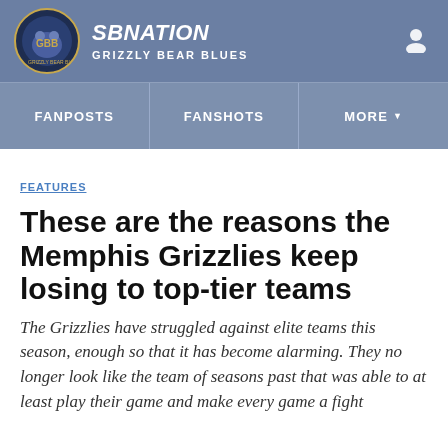SBNation – Grizzly Bear Blues
FEATURES
These are the reasons the Memphis Grizzlies keep losing to top-tier teams
The Grizzlies have struggled against elite teams this season, enough so that it has become alarming. They no longer look like the team of seasons past that was able to at least play their game and make every game a fight